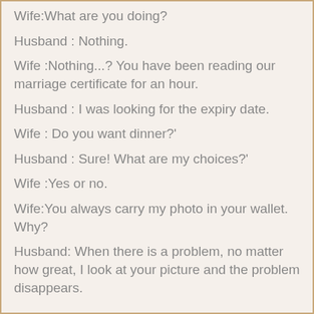Wife:What are you doing?
Husband : Nothing.
Wife :Nothing...? You have been reading our marriage certificate for an hour.
Husband : I was looking for the expiry date.
Wife : Do you want dinner?'
Husband : Sure! What are my choices?'
Wife :Yes or no.
Wife:You always carry my photo in your wallet. Why?
Husband: When there is a problem, no matter how great, I look at your picture and the problem disappears.